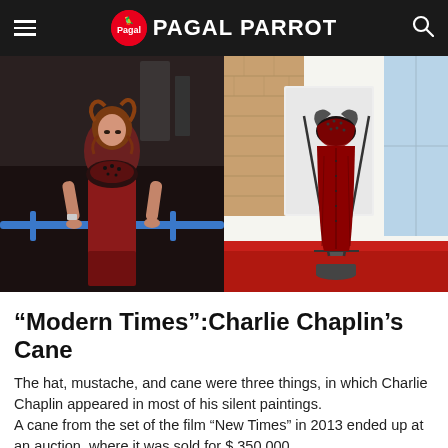PAGAL PARROT
[Figure (photo): Left: A young woman with curly red hair wearing a dark red beaded dress, leaning on a blue railing in a dark industrial setting. Right: The same red beaded dress displayed on a mannequin in an exhibition space with red carpet flooring.]
“Modern Times”:Charlie Chaplin’s Cane
The hat, mustache, and cane were three things, in which Charlie Chaplin appeared in most of his silent paintings.
A cane from the set of the film “New Times” in 2013 ended up at an auction, where it was sold for $ 350,000.